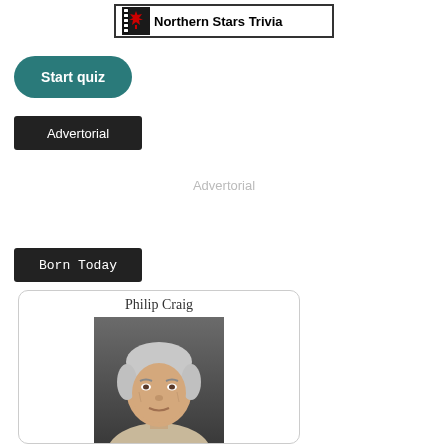[Figure (logo): Northern Stars Trivia logo with Canadian maple leaf icon and film strip border]
Start quiz
Advertorial
Advertorial
Born Today
Philip Craig
[Figure (photo): Headshot of Philip Craig, an elderly man with white hair wearing a light beige jacket]